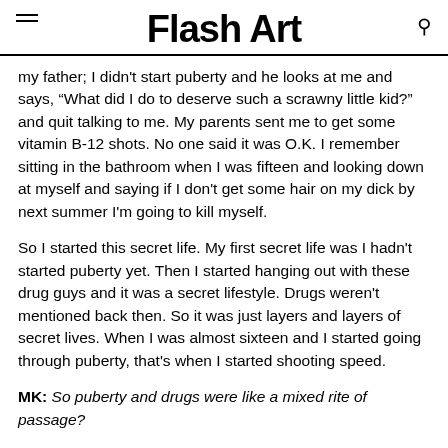Flash Art
my father; I didn't start puberty and he looks at me and says, “What did I do to deserve such a scrawny little kid?” and quit talking to me. My parents sent me to get some vitamin B-12 shots. No one said it was O.K. I remember sitting in the bathroom when I was fifteen and looking down at myself and saying if I don't get some hair on my dick by next summer I'm going to kill myself.
So I started this secret life. My first secret life was I hadn't started puberty yet. Then I started hanging out with these drug guys and it was a secret lifestyle. Drugs weren't mentioned back then. So it was just layers and layers of secret lives. When I was almost sixteen and I started going through puberty, that's when I started shooting speed.
MK: So puberty and drugs were like a mixed rite of passage?